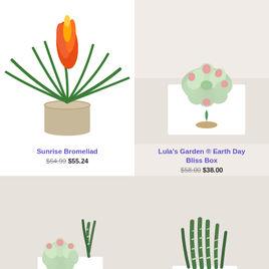[Figure (photo): Sunrise Bromeliad plant with orange-red flower in a beige/taupe ceramic pot on white background]
Sunrise Bromeliad
$64.99 $55.24
[Figure (photo): Lula's Garden Earth Day Bliss Box: succulent with pink tips in a white rectangular gift box with plant logo, on beige background]
Lula's Garden ® Earth Day Bliss Box
$58.00 $38.00
[Figure (photo): Small succulent plant arrangement in a white rectangular box with plant logo, on beige background]
[Figure (photo): Striped haworthia succulent with tall spiky leaves in a white rectangular box with plant logo, on beige background]